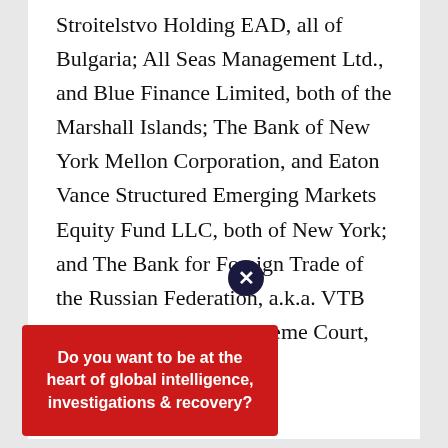Stroitelstvo Holding EAD, all of Bulgaria; All Seas Management Ltd., and Blue Finance Limited, both of the Marshall Islands; The Bank of New York Mellon Corporation, and Eaton Vance Structured Emerging Markets Equity Fund LLC, both of New York; and The Bank for Foreign Trade of the Russian Federation, a.k.a. VTB Bank, at New York Supreme Court, County of New York.
November 28, 2018
et al: TRO Motion
rary Restraining Order in U. ge Commission v. Roger Knox, Wintercap SA, Michael T. Gastauer, WB21 US